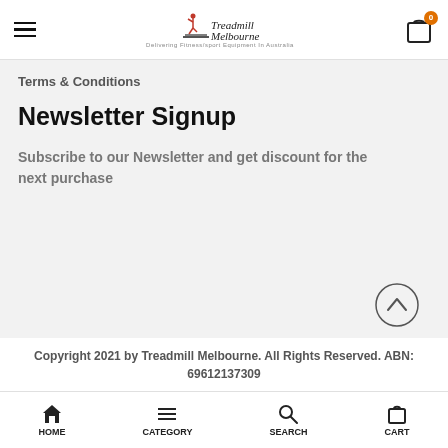Treadmill Melbourne — Delivering Fitness/sport Equipment In Australia. Cart: 0
Terms & Conditions
Newsletter Signup
Subscribe to our Newsletter and get discount for the next purchase
Copyright 2021 by Treadmill Melbourne. All Rights Reserved. ABN: 69612137309
HOME  CATEGORY  SEARCH  CART